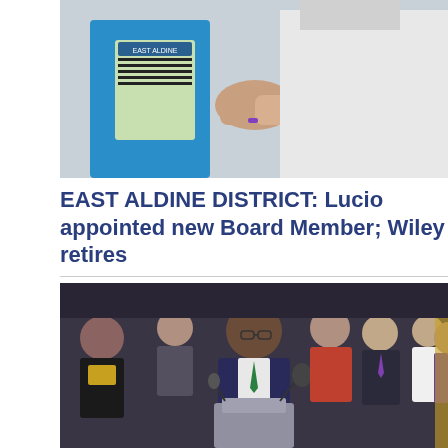[Figure (photo): Two people shaking hands, one holding an East Aldine District folder/binder, wearing a blue East Aldine shirt]
EAST ALDINE DISTRICT: Lucio appointed new Board Member; Wiley retires
[Figure (photo): A man in a navy suit with green tie speaking at a podium/lectern, surrounded by a group of people standing behind him at what appears to be a press conference or official announcement]